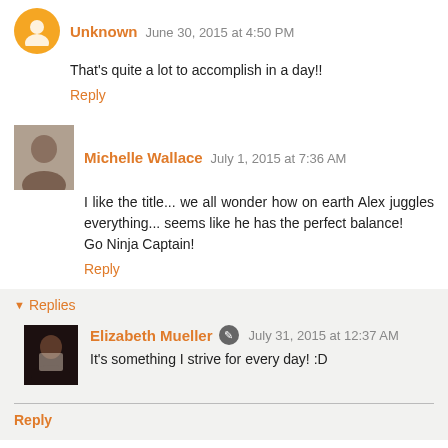Unknown June 30, 2015 at 4:50 PM
That's quite a lot to accomplish in a day!!
Reply
Michelle Wallace July 1, 2015 at 7:36 AM
I like the title... we all wonder how on earth Alex juggles everything... seems like he has the perfect balance!
Go Ninja Captain!
Reply
Replies
Elizabeth Mueller July 31, 2015 at 12:37 AM
It's something I strive for every day! :D
Reply
Anonymous July 1, 2015 at 10:31 AM